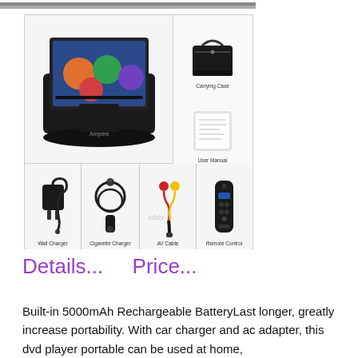[Figure (photo): Top portion of a product image, cropped - gray/silver surface visible at top edge]
[Figure (photo): Product accessory grid showing: large portable DVD player (main), Carrying Case, User Manual, Wall Charger, Cigarette Charger, AV Cable, Remote Control. eBay watermark visible on bottom row.]
Details...    Price...
Built-in 5000mAh Rechargeable BatteryLast longer, greatly increase portability. With car charger and ac adapter, this dvd player portable can be used at home,